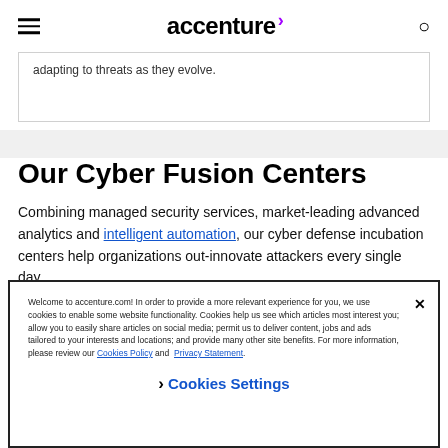accenture
adapting to threats as they evolve.
Our Cyber Fusion Centers
Combining managed security services, market-leading advanced analytics and intelligent automation, our cyber defense incubation centers help organizations out-innovate attackers every single day.
Welcome to accenture.com! In order to provide a more relevant experience for you, we use cookies to enable some website functionality. Cookies help us see which articles most interest you; allow you to easily share articles on social media; permit us to deliver content, jobs and ads tailored to your interests and locations; and provide many other site benefits. For more information, please review our Cookies Policy and Privacy Statement.
❯ Cookies Settings